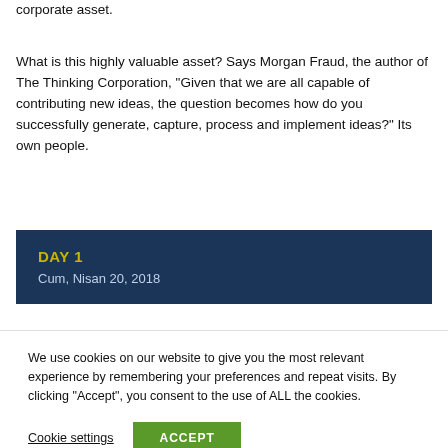many of these companies never think of using this amazing corporate asset.
What is this highly valuable asset? Says Morgan Fraud, the author of The Thinking Corporation, “Given that we are all capable of contributing new ideas, the question becomes how do you successfully generate, capture, process and implement ideas?” Its own people.
DAY 1
Cum, Nisan 20, 2018
We use cookies on our website to give you the most relevant experience by remembering your preferences and repeat visits. By clicking “Accept”, you consent to the use of ALL the cookies.
Cookie settings   ACCEPT